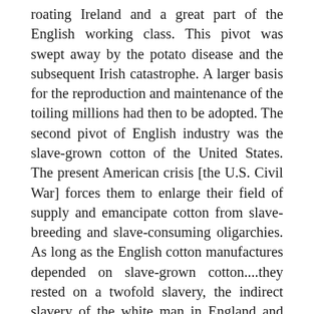roating Ireland and a great part of the English working class. This pivot was swept away by the potato disease and the subsequent Irish catastrophe. A larger basis for the reproduction and maintenance of the toiling millions had then to be adopted. The second pivot of English industry was the slave-grown cotton of the United States. The present American crisis [the U.S. Civil War] forces them to enlarge their field of supply and emancipate cotton from slave-breeding and slave-consuming oligarchies. As long as the English cotton manufactures depended on slave-grown cotton....they rested on a twofold slavery, the indirect slavery of the white man in England and the direct slavery of the black men on the other side of the Atlantic.37